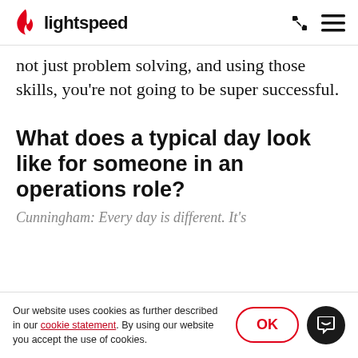lightspeed
not just problem solving, and using those skills, you're not going to be super successful.
What does a typical day look like for someone in an operations role?
Cunningham: Every day is different. It's
Our website uses cookies as further described in our cookie statement. By using our website you accept the use of cookies.